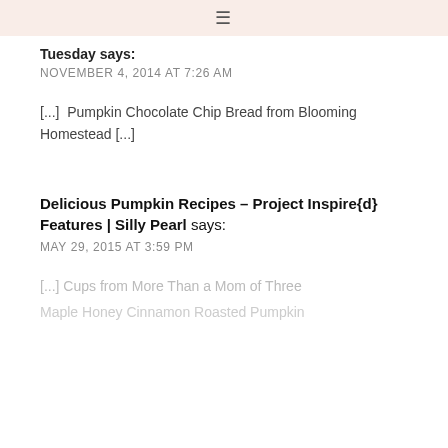≡
Tuesday says:
NOVEMBER 4, 2014 AT 7:26 AM
[...]  Pumpkin Chocolate Chip Bread from Blooming Homestead [...]
Delicious Pumpkin Recipes – Project Inspire{d} Features | Silly Pearl says:
MAY 29, 2015 AT 3:59 PM
[...] Cups from More Than a Mom of Three
Maple Honey Cinnamon Roasted Pumpkin